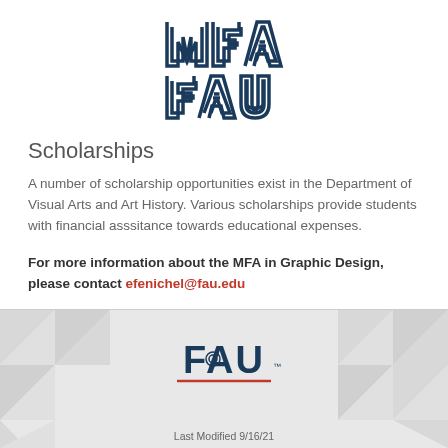[Figure (logo): MFA FAU logo — stylized letters MFA over FAU in dark navy blue with double-line geometric letterforms]
Scholarships
A number of scholarship opportunities exist in the Department of Visual Arts and Art History. Various scholarships provide students with financial asssitance towards educational expenses.
For more information about the MFA in Graphic Design, please contact efenichel@fau.edu
[Figure (logo): FAU Florida Atlantic University logo with owl graphic and red underline, on a geometric grey pattern background]
Last Modified 9/16/21